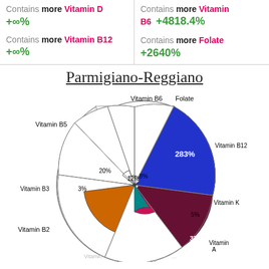Contains more Vitamin D +∞%
Contains more Vitamin B6 +4818.4%
Contains more Vitamin B12 +∞%
Contains more Folate +2640%
Parmigiano-Reggiano
[Figure (radar-chart): Radar/spider chart showing vitamin content percentages for Parmigiano-Reggiano. Slices: Vitamin B6 12%, Folate 8%, Vitamin B12 283%, Vitamin K 5%, Vitamin A 4%, (other small), Vitamin B2 13%, Vitamin B3 3%, Vitamin B5 20%.]